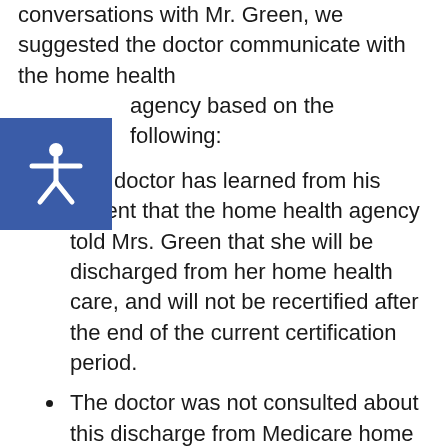conversations with Mr. Green, we suggested the doctor communicate with the home health agency based on the following:
The doctor has learned from his patient that the home health agency told Mrs. Green that she will be discharged from her home health care, and will not be recertified after the end of the current certification period.
The doctor was not consulted about this discharge from Medicare home health care.
The doctor does not agree that discharge from home health care is medically appropriate for Mrs. Green.
The doctor is prepared to re-certify Mrs. Green based on personal knowledge of her home health needs.